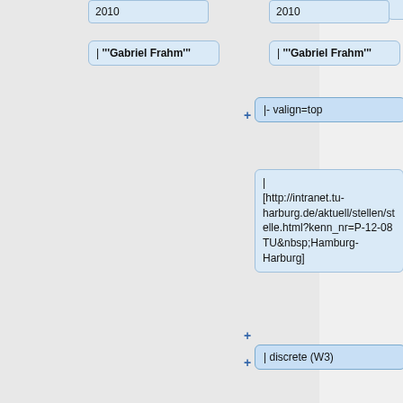2010
2010
| '''Gabriel Frahm'''
| '''Gabriel Frahm'''
|- valign=top
| [http://intranet.tu-harburg.de/aktuell/stellen/stelle.html?kenn_nr=P-12-08 TU&nbsp;Hamburg-Harburg]
| discrete (W3)
| Aug 9, 2012
| '''Anusch Taraz'''<!--2013- --> [http://www.tuhh.de/~chl0213/cv.html], Konstantinos Panagiotou